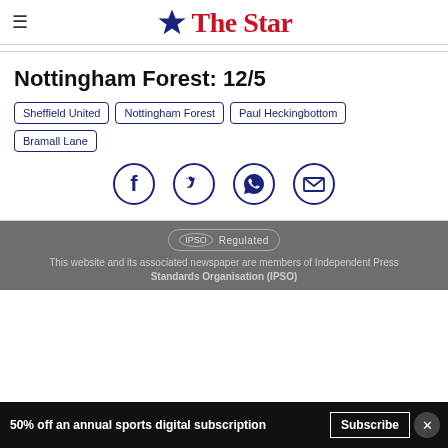The Star
Nottingham Forest: 12/5
Sheffield United
Nottingham Forest
Paul Heckingbottom
Bramall Lane
[Figure (infographic): Social share icons: Facebook, Twitter, WhatsApp, Email]
This website and its associated newspaper are members of Independent Press Standards Organisation (IPSO)
50% off an annual sports digital subscription  Subscribe